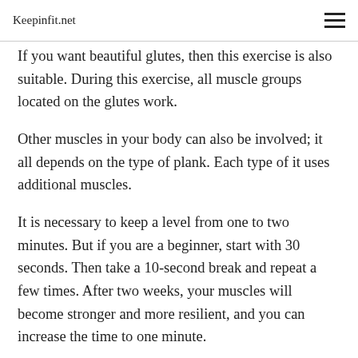Keepinfit.net
If you want beautiful glutes, then this exercise is also suitable. During this exercise, all muscle groups located on the glutes work.
Other muscles in your body can also be involved; it all depends on the type of plank. Each type of it uses additional muscles.
It is necessary to keep a level from one to two minutes. But if you are a beginner, start with 30 seconds. Then take a 10-second break and repeat a few times. After two weeks, your muscles will become stronger and more resilient, and you can increase the time to one minute.
Planks are safe for children too. However, remember the...